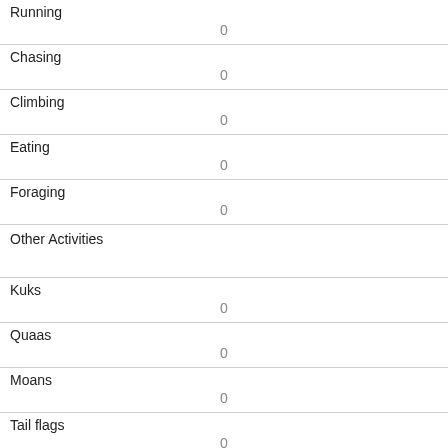| Running | 0 |
| Chasing | 0 |
| Climbing | 0 |
| Eating | 0 |
| Foraging | 0 |
| Other Activities |  |
| Kuks | 0 |
| Quaas | 0 |
| Moans | 0 |
| Tail flags | 0 |
| Tail twitches |  |